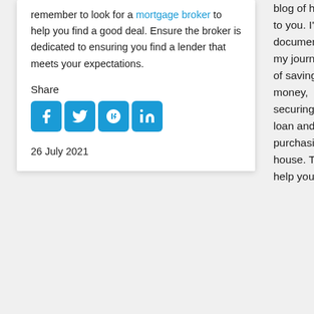remember to look for a mortgage broker to help you find a good deal. Ensure the broker is dedicated to ensuring you find a lender that meets your expectations.
Share
[Figure (other): Social media share icons: Facebook, Twitter, Google+, LinkedIn]
26 July 2021
blog of help to you. I've documented my journey of saving money, securing a loan and purchasing a house. To help you